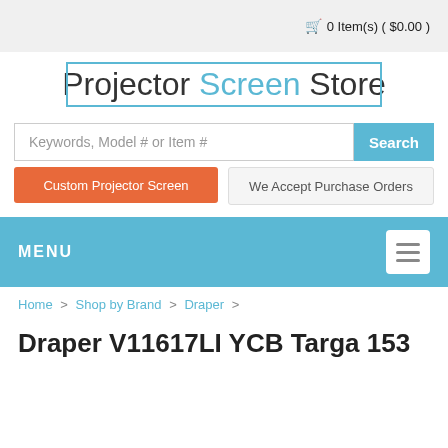🛒 0 Item(s) ( $0.00 )
[Figure (logo): Projector Screen Store logo with teal decorative border lines]
Keywords, Model # or Item #
Search
Custom Projector Screen
We Accept Purchase Orders
MENU
Home > Shop by Brand > Draper >
Draper V11617LI YCB Targa 153